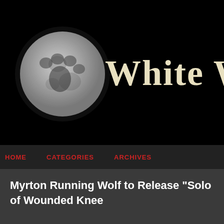[Figure (logo): Website header banner with black background showing a moon with a wolf paw print on it on the left, and partial text 'WHITE W' in large cream/ivory serif font on the right]
HOME   CATEGORIES   ARCHIVES
Myrton Running Wolf to Release "Solo of Wounded Knee